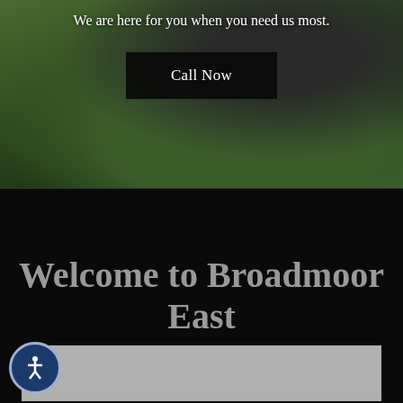[Figure (photo): A dark-colored fluffy dog (appears to be a large breed like a Belgian Tervuren or similar) sitting on green grass outdoors. The dog has its mouth open and tongue out. The background is blurred green outdoor scene.]
We are here for you when you need us most.
Call Now
Welcome to Broadmoor East
[Figure (map): A gray map placeholder region at the bottom of the page.]